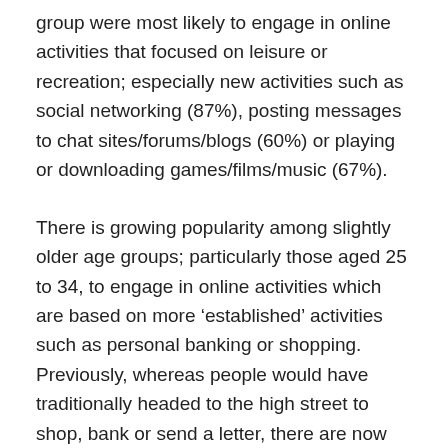group were most likely to engage in online activities that focused on leisure or recreation; especially new activities such as social networking (87%), posting messages to chat sites/forums/blogs (60%) or playing or downloading games/films/music (67%).
There is growing popularity among slightly older age groups; particularly those aged 25 to 34, to engage in online activities which are based on more ‘established’ activities such as personal banking or shopping. Previously, whereas people would have traditionally headed to the high street to shop, bank or send a letter, there are now new online ways of carrying out these activities via websites, or increasingly, mobile